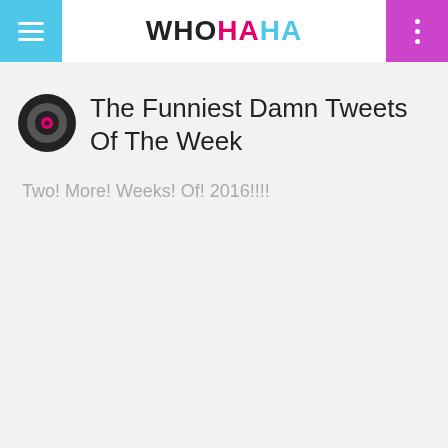WHOHAHA
The Funniest Damn Tweets Of The Week
Two! More! Weeks! Of! 2016!!!!